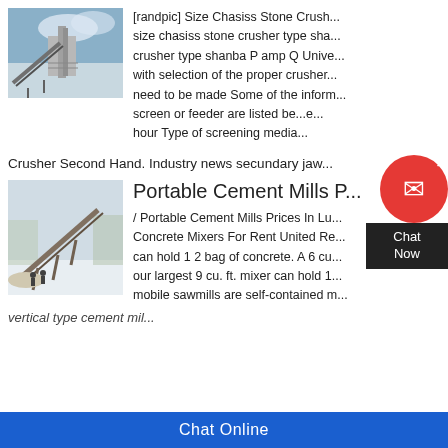[Figure (photo): Industrial stone crusher facility with conveyor belt and machinery against blue sky]
[randpic] Size Chasiss Stone Crush... size chasiss stone crusher type sha... crusher type shanba P amp Q Unive... with selection of the proper crusher... need to be made Some of the inform... screen or feeder are listed be...e... hour Type of screening media...
Crusher Second Hand. Industry news secundary jaw...
[Figure (photo): Portable cement mill or crusher equipment on snowy ground with conveyor structure]
Portable Cement Mills P...
/ Portable Cement Mills Prices In Lu... Concrete Mixers For Rent United Re... can hold 1 2 bag of concrete. A 6 cu... our largest 9 cu. ft. mixer can hold 1... mobile sawmills are self-contained m...
vertical type cement mil...
Chat Online